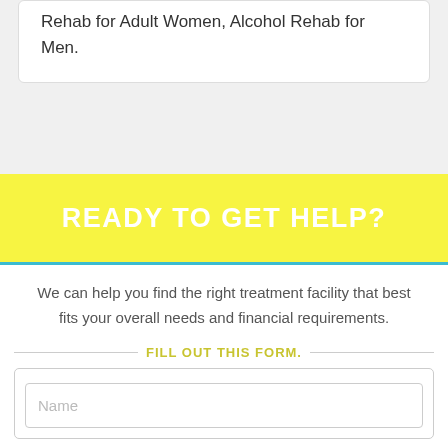Rehab for Adult Women, Alcohol Rehab for Men.
READY TO GET HELP?
We can help you find the right treatment facility that best fits your overall needs and financial requirements.
FILL OUT THIS FORM.
Name